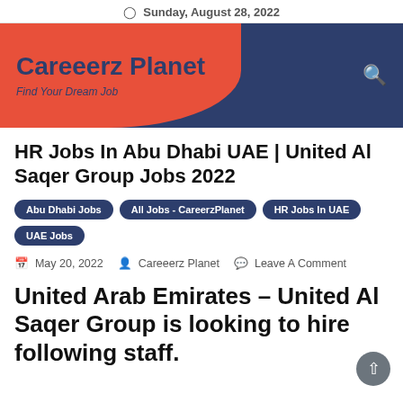Sunday, August 28, 2022
[Figure (logo): Careeerz Planet website logo with red blob shape on dark navy background, site title 'Careeerz Planet' and tagline 'Find Your Dream Job']
HR Jobs In Abu Dhabi UAE | United Al Saqer Group Jobs 2022
Abu Dhabi Jobs
All Jobs - CareerzPlanet
HR Jobs In UAE
UAE Jobs
May 20, 2022  Careeerz Planet  Leave A Comment
United Arab Emirates – United Al Saqer Group is looking to hire following staff.